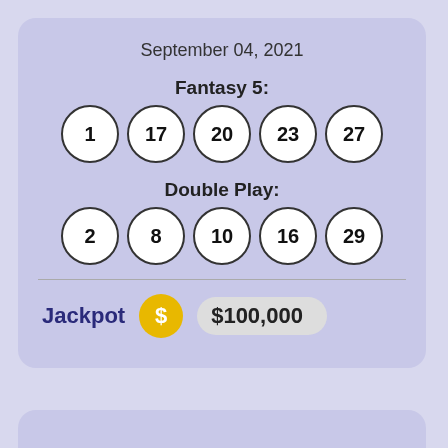September 04, 2021
Fantasy 5:
1  17  20  23  27
Double Play:
2  8  10  16  29
Jackpot  $  $100,000